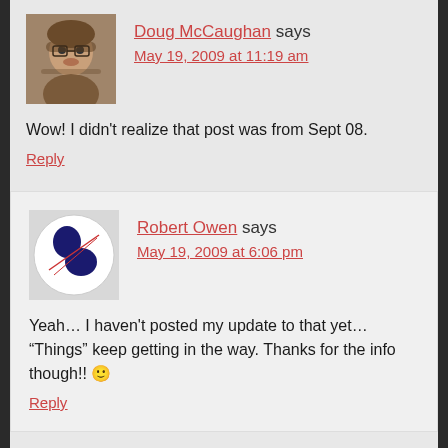Doug McCaughan says
May 19, 2009 at 11:19 am
Wow! I didn't realize that post was from Sept 08.
Reply
Robert Owen says
May 19, 2009 at 6:06 pm
Yeah… I haven't posted my update to that yet… “Things” keep getting in the way. Thanks for the info though!! 🙂
Reply